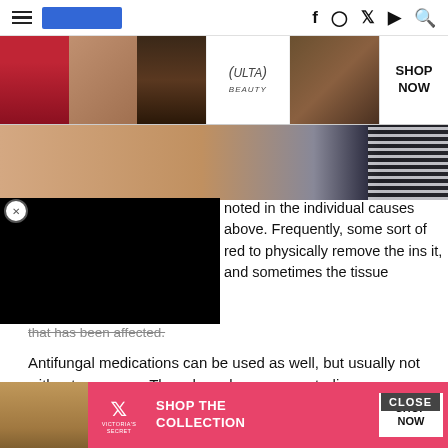Navigation bar with hamburger menu, logo, social icons (f, instagram, twitter, youtube, search)
[Figure (advertisement): Ulta Beauty ad banner with makeup images and SHOP NOW button]
[Figure (photo): Close-up skin/body photo with striped fabric on right]
[Figure (screenshot): Black video overlay rectangle on left side]
noted in the individual causes above. Frequently, some sort of red to physically remove the ins it, and sometimes the tissue that has been affected.
Antifungal medications can be used as well, but usually not without a surgery. There have been some studie indicating h as itracon
[Figure (advertisement): Victoria's Secret bottom ad banner with SHOP THE COLLECTION and SHOP NOW button]
CLOSE